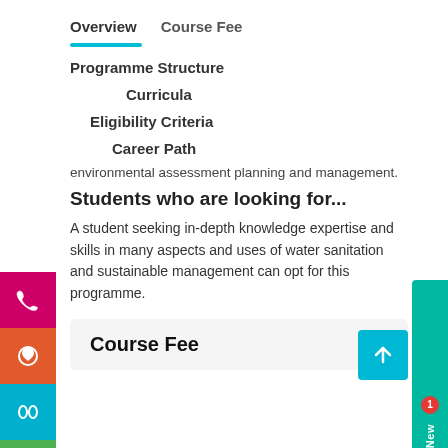Overview   Course Fee
Programme Structure
Curricula
Eligibility Criteria
Career Path
environmental assessment planning and management.
Students who are looking for...
A student seeking in-depth knowledge expertise and skills in many aspects and uses of water sanitation and sustainable management can opt for this programme.
Course Fee